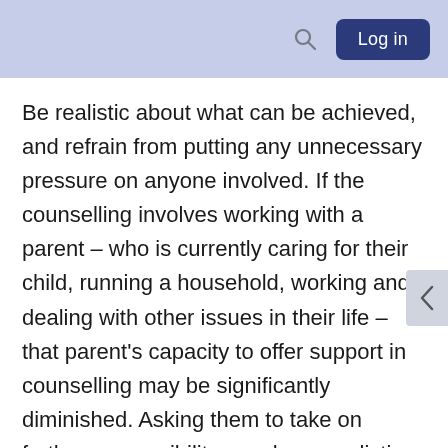Log in
Be realistic about what can be achieved, and refrain from putting any unnecessary pressure on anyone involved. If the counselling involves working with a parent – who is currently caring for their child, running a household, working and dealing with other issues in their life – that parent's capacity to offer support in counselling may be significantly diminished. Asking them to take on further responsibility may be unrealistic and only set them up for failure.
The capacity of paid support workers can also vary significantly, depending on their level of training, type of supervision, the way they see their role, and the way their role is defined by the organisation they work